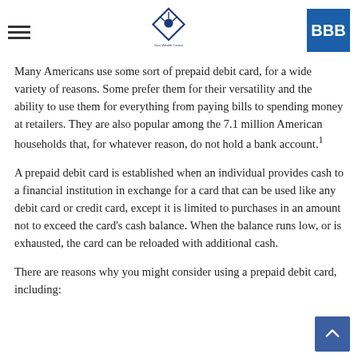[hamburger menu icon] [Your Wealth Center logo] [BBB logo]
Many Americans use some sort of prepaid debit card, for a wide variety of reasons. Some prefer them for their versatility and the ability to use them for everything from paying bills to spending money at retailers. They are also popular among the 7.1 million American households that, for whatever reason, do not hold a bank account.¹
A prepaid debit card is established when an individual provides cash to a financial institution in exchange for a card that can be used like any debit card or credit card, except it is limited to purchases in an amount not to exceed the card's cash balance. When the balance runs low, or is exhausted, the card can be reloaded with additional cash.
There are reasons why you might consider using a prepaid debit card, including: